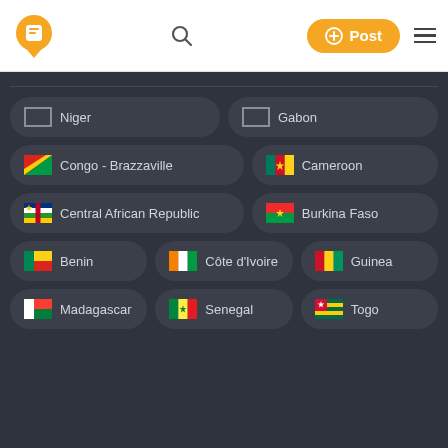[Figure (screenshot): App header with orange location-pin logo, search icon, orange Post button, and hamburger menu]
Niger
Gabon
Congo - Brazzaville
Cameroon
Central African Republic
Burkina Faso
Benin
Côte d'Ivoire
Guinea
Madagascar
Senegal
Togo